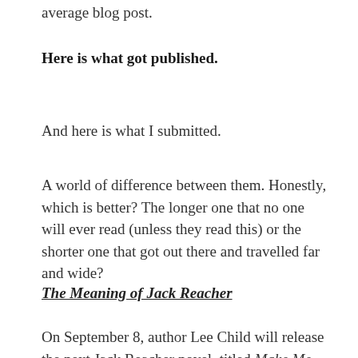average blog post.
Here is what got published.
And here is what I submitted.
A world of difference between them. Honestly, which is better? The longer one that no one will ever read (unless they read this) or the shorter one that got out there and travelled far and wide?
The Meaning of Jack Reacher
On September 8, author Lee Child will release the next Jack Reacher novel, titled Make Me, the